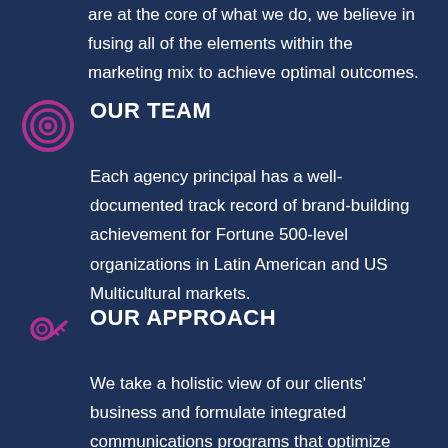are at the core of what we do, we believe in fusing all of the elements within the marketing mix to achieve optimal outcomes.
[Figure (illustration): Purple/magenta concentric circles target icon]
OUR TEAM
Each agency principal has a well-documented track record of brand-building achievement for Fortune 500-level organizations in Latin American and US Multicultural markets.
[Figure (illustration): Purple/magenta key icon]
OUR APPROACH
We take a holistic view of our clients' business and formulate integrated communications programs that optimize